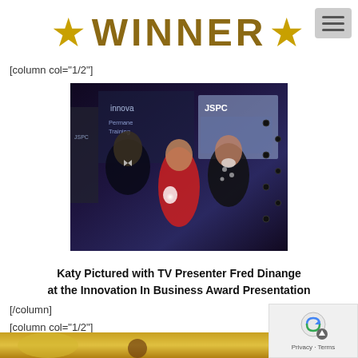★WINNER★
[column col="1/2"]
[Figure (photo): Three people posed on a stage at an award ceremony. A man in a tuxedo on the left, a woman in a red dress in the center holding a glowing award trophy, and another woman in a black and white patterned top on the right. Background shows event banners with 'JSPC' branding and 'Innovation' text. Dark curtain backdrop with lights.]
Katy Pictured with TV Presenter Fred Dinange at the Innovation In Business Award Presentation
[/column]
[column col="1/2"]
[Figure (photo): Partial view of a second photo at the bottom of the page, partially cut off. Shows warm golden/yellow tones, appears to be another event or award scene.]